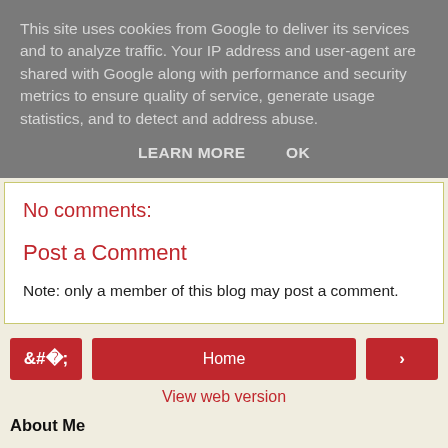This site uses cookies from Google to deliver its services and to analyze traffic. Your IP address and user-agent are shared with Google along with performance and security metrics to ensure quality of service, generate usage statistics, and to detect and address abuse.
LEARN MORE    OK
No comments:
Post a Comment
Note: only a member of this blog may post a comment.
‹  Home  ›
View web version
About Me